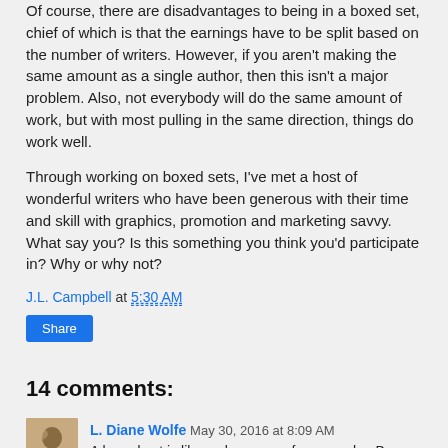Of course, there are disadvantages to being in a boxed set, chief of which is that the earnings have to be split based on the number of writers. However, if you aren't making the same amount as a single author, then this isn't a major problem. Also, not everybody will do the same amount of work, but with most pulling in the same direction, things do work well.
Through working on boxed sets, I've met a host of wonderful writers who have been generous with their time and skill with graphics, promotion and marketing savvy. What say you? Is this something you think you'd participate in? Why or why not?
J.L. Campbell at 5:30 AM
Share
14 comments:
L. Diane Wolfe  May 30, 2016 at 8:09 AM
A boxed set is like a showcase of your work...